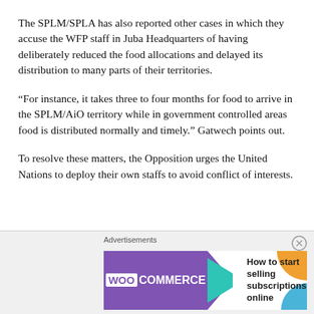The SPLM/SPLA has also reported other cases in which they accuse the WFP staff in Juba Headquarters of having deliberately reduced the food allocations and delayed its distribution to many parts of their territories.
“For instance, it takes three to four months for food to arrive in the SPLM/AiO territory while in government controlled areas food is distributed normally and timely.” Gatwech points out.
To resolve these matters, the Opposition urges the United Nations to deploy their own staffs to avoid conflict of interests.
[Figure (infographic): Advertisement banner for WooCommerce showing logo, teal arrow, and tagline 'How to start selling subscriptions online' with orange and blue decorative shapes]